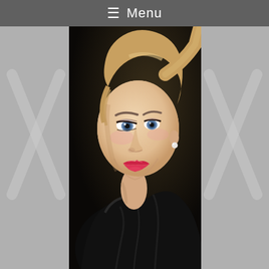≡ Menu
[Figure (photo): Portrait photo of a young blonde woman with blue eyes, red lipstick, pearl earrings, blonde hair in a high ponytail, wearing a black leather jacket, looking sideways at camera against a dark background.]